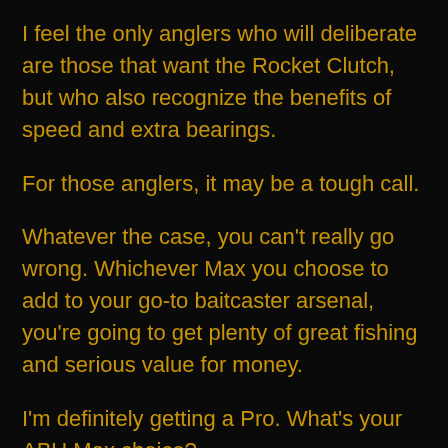I feel the only anglers who will deliberate are those that want the Rocket Clutch, but who also recognize the benefits of speed and extra bearings.
For those anglers, it may be a tough call.
Whatever the case, you can't really go wrong. Whichever Max you choose to add to your go-to baitcaster arsenal, you're going to get plenty of great fishing and serious value for money.
I'm definitely getting a Pro. What's your ABU Max choice?